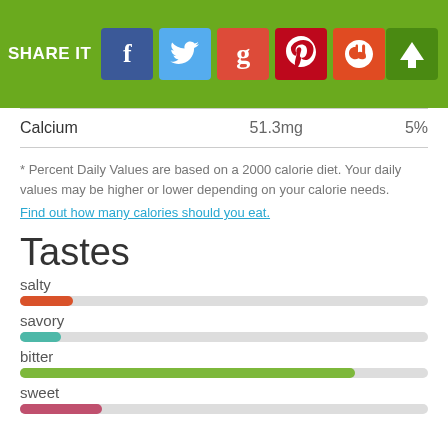[Figure (infographic): Green header bar with SHARE IT text and social media buttons (Facebook, Twitter, Google+, Pinterest, StumbleUpon) and an up-arrow button on the right]
|  |  |  |
| --- | --- | --- |
| Calcium | 51.3mg | 5% |
* Percent Daily Values are based on a 2000 calorie diet. Your daily values may be higher or lower depending on your calorie needs. Find out how many calories should you eat.
Tastes
[Figure (bar-chart): Tastes]